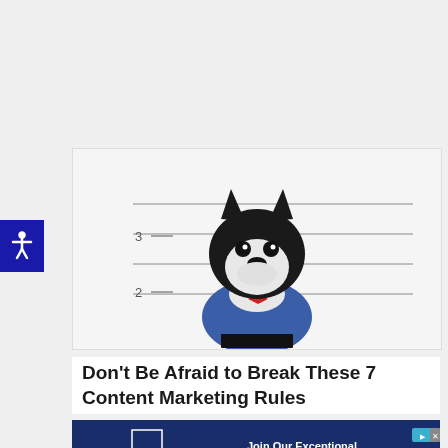[Figure (photo): A Boston Terrier dog posed in front of a police lineup height chart backdrop, wearing a blue jacket and white collar, holding a black nameplate. The background shows horizontal lines with numbers 2 and 3 marked.]
Don't Be Afraid to Break These 7 Content Marketing Rules
[Figure (photo): Johns Hopkins School of Education advertisement with dark navy background. Left side shows Johns Hopkins School of Education shield logo and text. Right side shows text: 'Join Our Exceptional Network of Education Change Agents' with a 'LEARN MORE' button. Small ad icon in top right.]